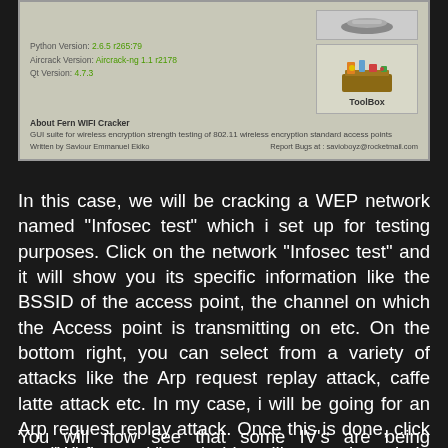[Figure (screenshot): Fern WiFi Cracker about dialog showing Python Version: 2.6.5 r265:79, Aircrack Version: Aircrack-ng 1.1 r2178, Qt Version: 4.7.3, a ToolBox icon image, and footer with author and bug report info.]
In this case, we will be cracking a WEP network named “Infosec test” which i set up for testing purposes. Click on the network “Infosec test” and it will show you its specific information like the BSSID of the access point, the channel on which the Access point is transmitting on etc. On the bottom right, you can select from a variety of attacks like the Arp request replay attack, caffe latte attack etc. In my case, i will be going for an Arp request replay attack. Once this is done, click on “Wi-fi attack” and this will start the whole process of cracking WEP.
You will now see that some IV’s are being captured as shown in the image below. The tool will also tell you